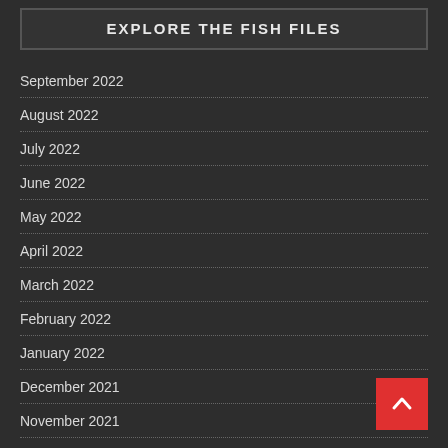EXPLORE THE FISH FILES
September 2022
August 2022
July 2022
June 2022
May 2022
April 2022
March 2022
February 2022
January 2022
December 2021
November 2021
October 2021
September 2021